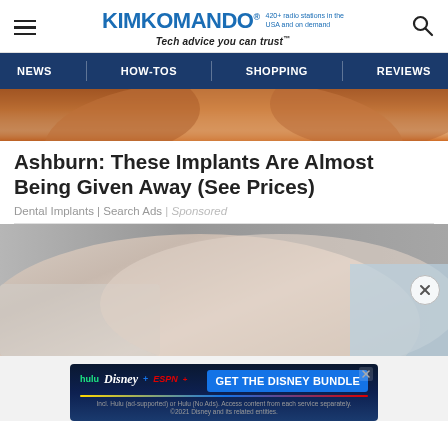KimKomando® 420+ radio stations in the USA and on demand — Tech advice you can trust™
[Figure (screenshot): Navigation bar with links: NEWS, HOW-TOS, SHOPPING, REVIEWS on dark blue background]
[Figure (photo): Close-up photo of a person's face/head showing reddish-brown hair, cropped to show forehead and hair]
Ashburn: These Implants Are Almost Being Given Away (See Prices)
Dental Implants | Search Ads | Sponsored
[Figure (photo): Close-up photo of skin/body part with light coloring, with a circular close button on the right side]
[Figure (screenshot): Disney Bundle advertisement banner showing hulu, Disney+, ESPN+ logos and 'GET THE DISNEY BUNDLE' call to action button. Fine print: Incl. Hulu (ad-supported) or Hulu (No Ads). Access content from each service separately. ©2021 Disney and its related entities.]